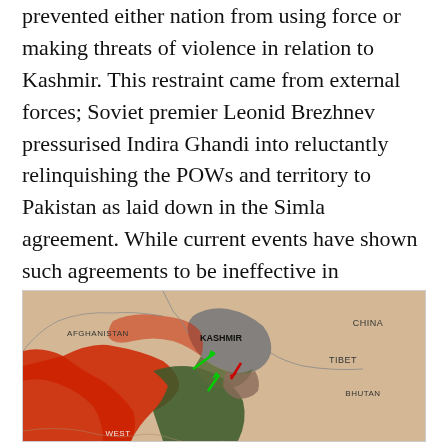prevented either nation from using force or making threats of violence in relation to Kashmir. This restraint came from external forces; Soviet premier Leonid Brezhnev pressurised Indira Ghandi into reluctantly relinquishing the POWs and territory to Pakistan as laid down in the Simla agreement. While current events have shown such agreements to be ineffective in achieving long-term peace in Kashmir, the political context that gave birth to the Simla accords is a key factor in understanding international involvement in the area.
[Figure (map): Map showing the Kashmir region and surrounding areas including Afghanistan, China, Tibet, Bhutan, and West Pakistan. Kashmir is labeled with a gray shaded region. Green arrows indicate troop movements toward Kashmir. Red shading represents Pakistan territory. Dark green shading represents India territory.]